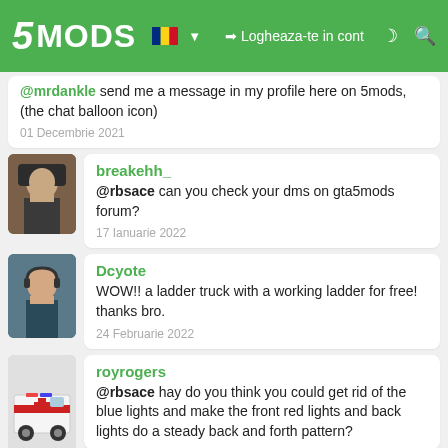5MODS — Logheaza-te in cont
@mrdankle send me a message in my profile here on 5mods, (the chat balloon icon)
01 Decembrie 2021
breakehh_
@rbsace can you check your dms on gta5mods forum?
17 Ianuarie 2022
Dcyote
WOW!! a ladder truck with a working ladder for free! thanks bro.
24 Februarie 2022
royrogers
@rbsace hay do you think you could get rid of the blue lights and make the front red lights and back lights do a steady back and forth pattern?